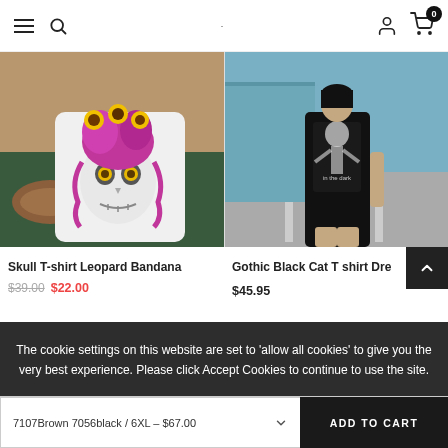Navigation header with hamburger menu, search icon, user icon, and cart icon with 0 items
[Figure (photo): White t-shirt with skull and sunflower/leopard bandana design, laid flat with sandals and jeans in background]
[Figure (photo): Woman wearing gothic black t-shirt dress with skeleton graphic and text 'in the dark', standing on street]
Skull T-shirt Leopard Bandana
$39.00  $22.00
Gothic Black Cat T shirt Dre
$45.95
The cookie settings on this website are set to 'allow all cookies' to give you the very best experience. Please click Accept Cookies to continue to use the site.
PRIVACY POLICY   ACCEPT ✓
7107Brown 7056black / 6XL – $67.00   ADD TO CART